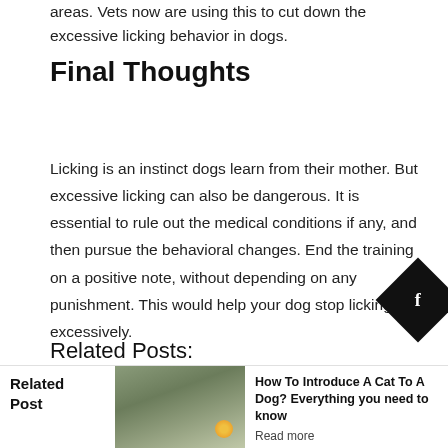areas. Vets now are using this to cut down the excessive licking behavior in dogs.
Final Thoughts
Licking is an instinct dogs learn from their mother. But excessive licking can also be dangerous. It is essential to rule out the medical conditions if any, and then pursue the behavioral changes. End the training on a positive note, without depending on any punishment. This would help your dog stop licking excessively.
Related Posts:
[Figure (photo): Two related post thumbnail images side by side]
Related Post
[Figure (photo): Dog lying in grass with flower, related post thumbnail]
How To Introduce A Cat To A Dog? Everything you need to know
Read more